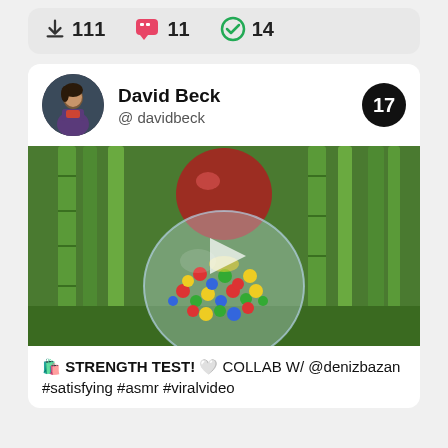111  11  14
David Beck  @ davidbeck  17
[Figure (photo): Video thumbnail showing a clear ball filled with colorful candy balls (red, yellow, green, blue) in front of bamboo background, with a red ball above and a play button overlay]
🛍️ STRENGTH TEST! 🤍 COLLAB W/ @denizbazan #satisfying #asmr #viralvideo